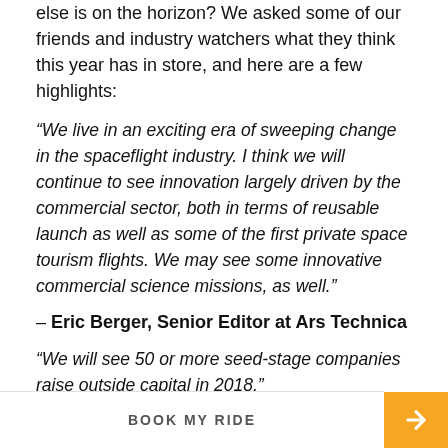else is on the horizon? We asked some of our friends and industry watchers what they think this year has in store, and here are a few highlights:
“We live in an exciting era of sweeping change in the spaceflight industry. I think we will continue to see innovation largely driven by the commercial sector, both in terms of reusable launch as well as some of the first private space tourism flights. We may see some innovative commercial science missions, as well.”
– Eric Berger, Senior Editor at Ars Technica
“We will see 50 or more seed-stage companies raise outside capital in 2018.”
– [partially visible attribution]
BOOK MY RIDE